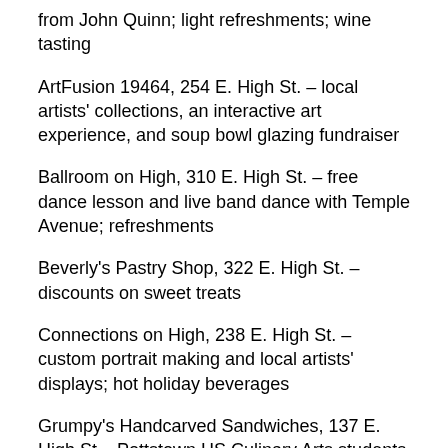from John Quinn; light refreshments; wine tasting
ArtFusion 19464, 254 E. High St. – local artists' collections, an interactive art experience, and soup bowl glazing fundraiser
Ballroom on High, 310 E. High St. – free dance lesson and live band dance with Temple Avenue; refreshments
Beverly's Pastry Shop, 322 E. High St. – discounts on sweet treats
Connections on High, 238 E. High St. – custom portrait making and local artists' displays; hot holiday beverages
Grumpy's Handcarved Sandwiches, 137 E. High St.– Pottstown HS Culinary Arts students will be making/serving complimentary hors d'oeuvres; discounts